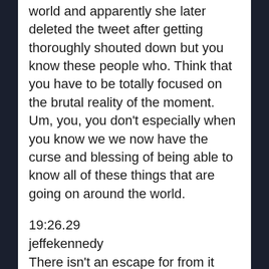world and apparently she later deleted the tweet after getting thoroughly shouted down but you know these people who. Think that you have to be totally focused on the brutal reality of the moment. Um, you, you don't especially when you know we we now have the curse and blessing of being able to know all of these things that are going on around the world.
19:26.29
jeffekennedy
There isn't an escape for from it unless you give yourself the escape and so my permission wand is inside but I shall wave it nonetheless in absentia ah, you do not have to watch the news. You do not have to read nonfiction to